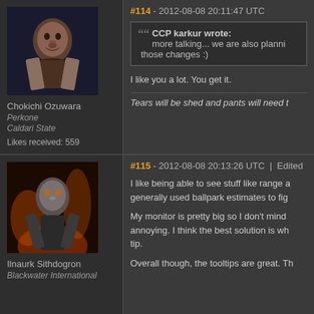#114 - 2012-08-08 20:11:47 UTC
CCP karkur wrote: more talking... we are also planning those changes :)
I like you a lot. You get it.
Tears will be shed and pants will need t...
Chokichi Ozuwara
Perkone
Caldari State
Likes received: 559
#115 - 2012-08-08 20:13:26 UTC  |  Edited
I like being able to see stuff like range a... generally used ballpark estimates to fig...
My monitor is pretty big so I don't mind ... annoying. I think the best solution is wh... tip.
Overall though, the tooltips are great. Th...
Ilnaurk Sithdogron
Blackwater International